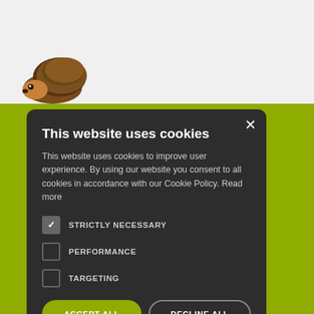[Figure (screenshot): Website screenshot showing a hedgehog logo in the top-left on a light grey background, with an olive/yellow-green background below containing partial text about injuries, illness, and a ptes.org email address. A dark cookie consent modal overlays the center of the page.]
This website uses cookies
This website uses cookies to improve user experience. By using our website you consent to all cookies in accordance with our Cookie Policy. Read more
STRICTLY NECESSARY
PERFORMANCE
TARGETING